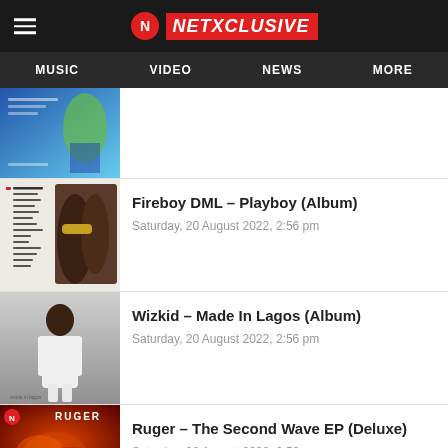NETXCLUSIVE — MUSIC  VIDEO  NEWS  MORE
[Figure (screenshot): Partial album thumbnail at top of list (partially visible, blue stadium background)]
[Figure (photo): Fireboy DML – Playboy album cover showing hands with gold bracelet and track listing]
Fireboy DML – Playboy (Album)
Saturday, 20 August 2022, 2:56 pm
[Figure (photo): Wizkid – Made In Lagos album cover showing Wizkid in white outfit against grey background]
Wizkid – Made In Lagos (Album)
Saturday, 20 August 2022, 2:56 pm
[Figure (photo): Ruger – The Second Wave EP (Deluxe) album cover with orange/red smoky background]
Ruger – The Second Wave EP (Deluxe)
Saturday, 20 August 2022, 2:56 pm